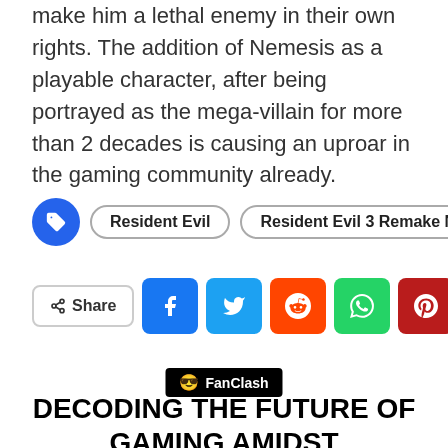make him a lethal enemy in their own rights. The addition of Nemesis as a playable character, after being portrayed as the mega-villain for more than 2 decades is causing an uproar in the gaming community already.
Resident Evil
Resident Evil 3 Remake News
Share
[Figure (logo): FanClash logo badge]
DECODING THE FUTURE OF GAMING AMIDST REGULATIONS